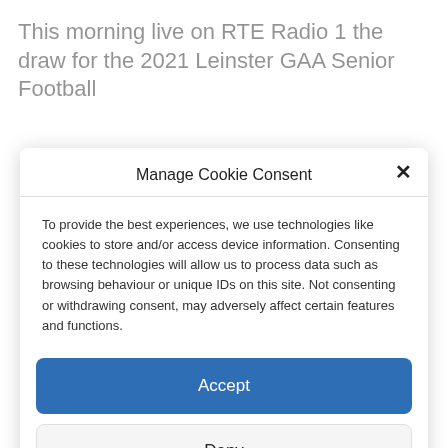This morning live on RTE Radio 1 the draw for the 2021 Leinster GAA Senior Football
Manage Cookie Consent
To provide the best experiences, we use technologies like cookies to store and/or access device information. Consenting to these technologies will allow us to process data such as browsing behaviour or unique IDs on this site. Not consenting or withdrawing consent, may adversely affect certain features and functions.
Accept
Deny
View preferences
Cookie Policy  Privacy Policy